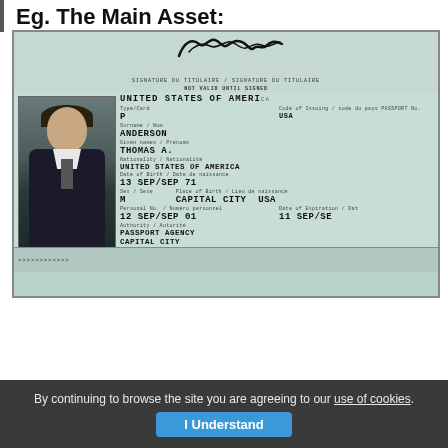Eg. The Main Asset:
[Figure (photo): Scan of a United States of America passport showing personal data fields: Name ANDERSON, THOMAS A., Date of Birth 13 SEP/SEP 71, Sex M, Place of Birth CAPITAL CITY USA, Issue Date 12 SEP/SEP 01, Expiry 11 SEP/SE, Authority PASSPORT AGENCY CAPITAL CITY. Includes a photo of a young man in a suit.]
By continuing to browse the site you are agreeing to our use of cookies.
I Understand